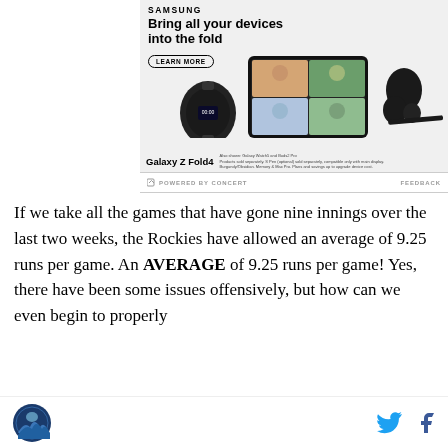[Figure (photo): Samsung Galaxy Z Fold4 advertisement featuring the device with video call on screen, a Galaxy Watch5, Galaxy Buds2 Pro, and S Pen. Text reads 'Bring all your devices into the fold' with a 'LEARN MORE' button.]
POWERED BY CONCERT   FEEDBACK
If we take all the games that have gone nine innings over the last two weeks, the Rockies have allowed an average of 9.25 runs per game. An AVERAGE of 9.25 runs per game! Yes, there have been some issues offensively, but how can we even begin to properly